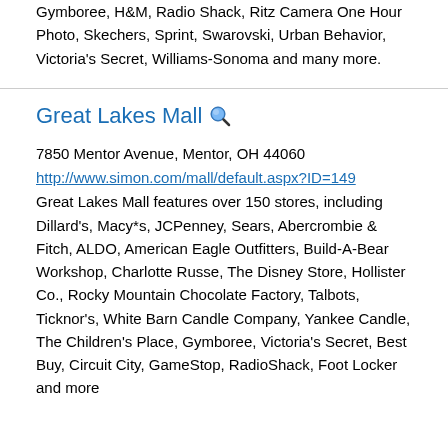Gymboree, H&M, Radio Shack, Ritz Camera One Hour Photo, Skechers, Sprint, Swarovski, Urban Behavior, Victoria's Secret, Williams-Sonoma and many more.
Great Lakes Mall
7850 Mentor Avenue, Mentor, OH 44060
http://www.simon.com/mall/default.aspx?ID=149
Great Lakes Mall features over 150 stores, including Dillard's, Macy*s, JCPenney, Sears, Abercrombie & Fitch, ALDO, American Eagle Outfitters, Build-A-Bear Workshop, Charlotte Russe, The Disney Store, Hollister Co., Rocky Mountain Chocolate Factory, Talbots, Ticknor's, White Barn Candle Company, Yankee Candle, The Children's Place, Gymboree, Victoria's Secret, Best Buy, Circuit City, GameStop, RadioShack, Foot Locker and more